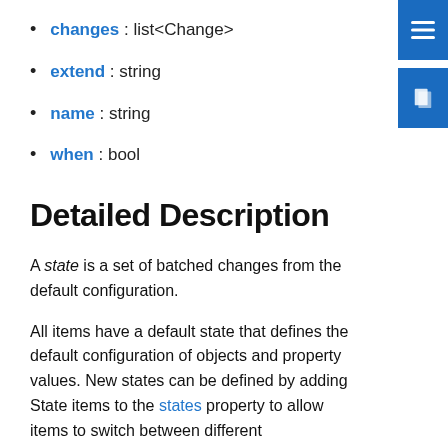changes : list<Change>
extend : string
name : string
when : bool
Detailed Description
A state is a set of batched changes from the default configuration.
All items have a default state that defines the default configuration of objects and property values. New states can be defined by adding State items to the states property to allow items to switch between different configurations. These configurations can, for example, be used to apply